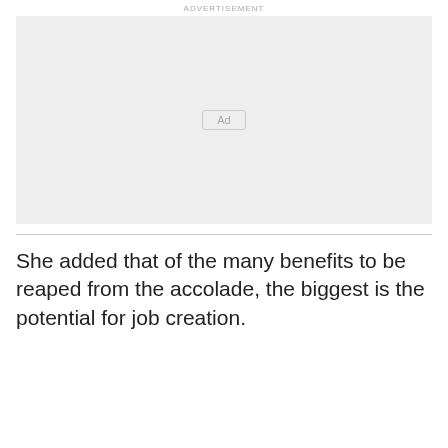ADVERTISEMENT
[Figure (other): Advertisement placeholder box with 'Ad' label button centered in a light gray rectangle]
She added that of the many benefits to be reaped from the accolade, the biggest is the potential for job creation.